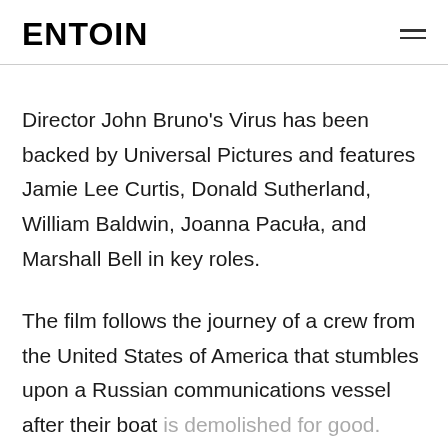ENTOIN
Director John Bruno's Virus has been backed by Universal Pictures and features Jamie Lee Curtis, Donald Sutherland, William Baldwin, Joanna Pacuła, and Marshall Bell in key roles.
The film follows the journey of a crew from the United States of America that stumbles upon a Russian communications vessel after their boat is demolished for good.